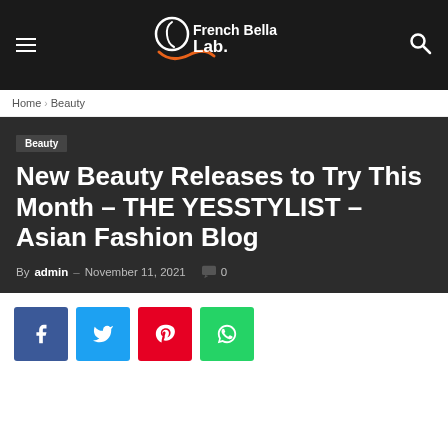French Bella Lab. — navigation header
Home › Beauty
Beauty
New Beauty Releases to Try This Month – THE YESSTYLIST – Asian Fashion Blog
By admin – November 11, 2021  0
[Figure (other): Social share buttons: Facebook, Twitter, Pinterest, WhatsApp]